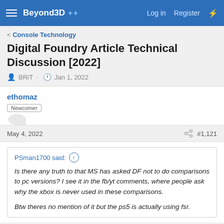Beyond3D  Log in  Register
< Console Technology
Digital Foundry Article Technical Discussion [2022]
BRiT · Jan 1, 2022
ethomaz
Newcomer
May 4, 2022  #1,121
PSman1700 said: ↑

Is there any truth to that MS has asked DF not to do comparisons to pc versions? I see it in the fb/yt comments, where people ask why the xbox is never used in these comparisons.

Btw theres no mention of it but the ps5 is actually using fsr.